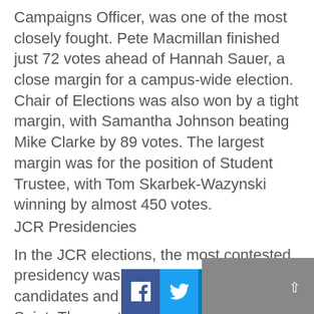Campaigns Officer, was one of the most closely fought. Pete Macmillan finished just 72 votes ahead of Hannah Sauer, a close margin for a campus-wide election. Chair of Elections was also won by a tight margin, with Samantha Johnson beating Mike Clarke by 89 votes. The largest margin was for the position of Student Trustee, with Tom Skarbek-Wazynski winning by almost 450 votes.
JCR Presidencies
In the JCR elections, the most contested presidency was County, which had four candidates and was won by Matthew Saint. The most controversial, however, was Pendle; eventual winner David Kennedy was reprimanded for comments made against other candidates in his hust. Kennedy has run for college President for three consecutive years, finally triumphing this year despite being... conduct